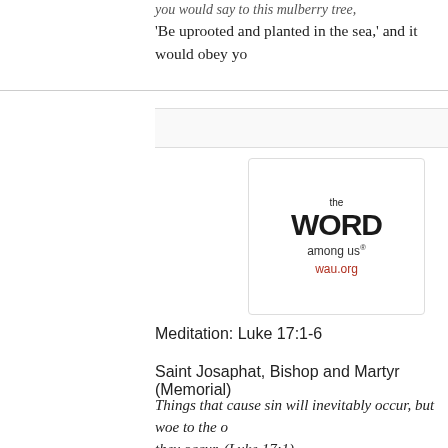you would say to this mulberry tree,
'Be uprooted and planted in the sea,' and it would obey yo
[Figure (logo): The Word Among Us logo with text 'the WORD among us®' and 'wau.org' in red]
Meditation: Luke 17:1-6
Saint Josaphat, Bishop and Martyr (Memorial)
Things that cause sin will inevitably occur, but woe to the o they occur. (Luke 17:1)
Have you ever noticed how closely many children watch a always absorbing and learning from what they see—the b reminiscent of the phrase "Children learn what they live."